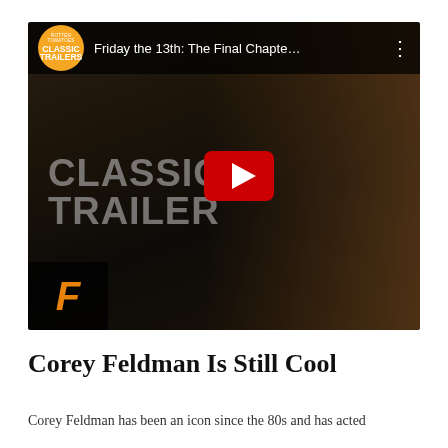[Figure (screenshot): YouTube video embed thumbnail for 'Friday the 13th: The Final Chapte...' showing a screaming person from a horror movie scene with a Classic Trailers logo badge and YouTube play button overlay. Fandango logo visible in bottom left corner.]
Corey Feldman Is Still Cool
Corey Feldman has been an icon since the 80s and has acted